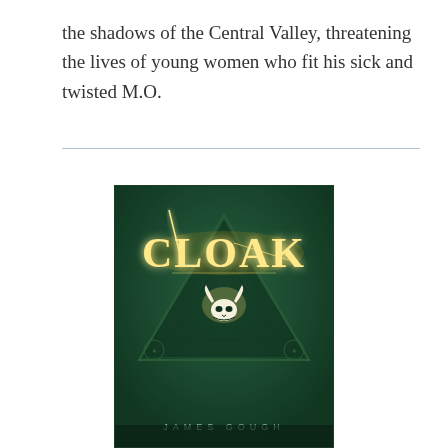the shadows of the Central Valley, threatening the lives of young women who fit his sick and twisted M.O.
[Figure (illustration): Book cover for 'CLOAK' by James Gough. Dark green background with a glowing golden title text 'CLOAK' with a sword/dagger through the letter C. Below the title is a triangular symbol with nested triangles and a white bull/horned skull silhouette at the center. At the bottom: 'JAMES GOUGH' in spaced capital letters.]